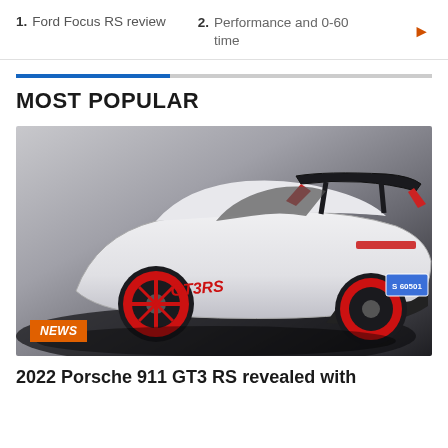1. Ford Focus RS review
2. Performance and 0-60 time
MOST POPULAR
[Figure (photo): White Porsche 911 GT3 RS with red wheels and GT3 RS livery decal, large rear wing, photographed from rear three-quarter angle against grey studio background. Blue license plate reading S 60501. NEWS badge overlay at bottom left.]
2022 Porsche 911 GT3 RS revealed with